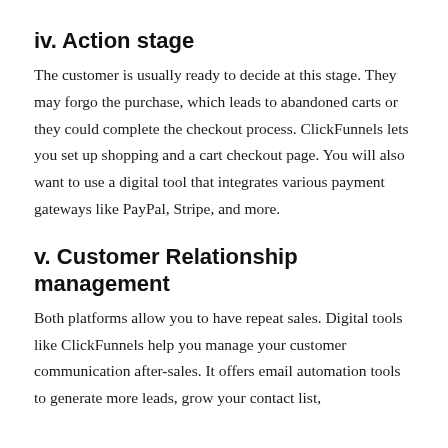iv. Action stage
The customer is usually ready to decide at this stage. They may forgo the purchase, which leads to abandoned carts or they could complete the checkout process. ClickFunnels lets you set up shopping and a cart checkout page. You will also want to use a digital tool that integrates various payment gateways like PayPal, Stripe, and more.
v. Customer Relationship management
Both platforms allow you to have repeat sales. Digital tools like ClickFunnels help you manage your customer communication after-sales. It offers email automation tools to generate more leads, grow your contact list,